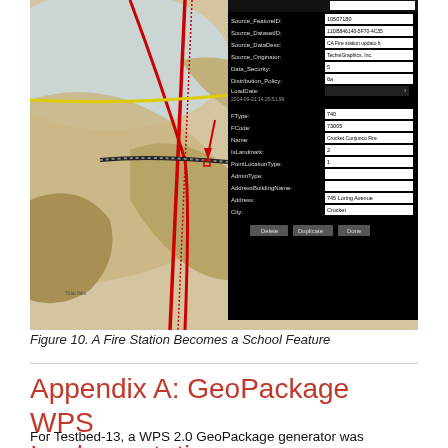[Figure (screenshot): Screenshot of a GIS map application showing a topographic map with roads and a data entry panel on the right side displaying fire station feature attributes including Source_FeatureID, Source_DatasetID, Source_DataDesc, FType, FCode, Name, IsLandmark, PointLocationType, AdminType, AddressBuildingName, Address (745 Loring Avenue), City (Crockett), and buttons for Delete, Duplicate, Done.]
Figure 10. A Fire Station Becomes a School Feature
Appendix A: GeoPackage WPS Implementation
For Testbed-13, a WPS 2.0 GeoPackage generator was